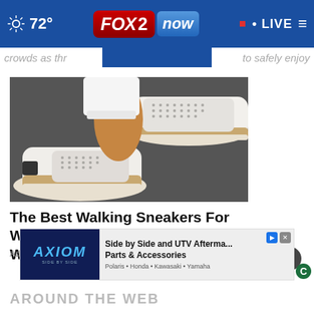72° FOX 2 now • LIVE
crowds as thr...   ...to safely enjoy
[Figure (photo): Close-up photo of women's white slip-on sneakers with perforated pattern and tan/brown sole trim worn with white rolled jeans]
The Best Walking Sneakers For Women To Wear All Day Without...
Ad by Sursell
[Figure (advertisement): Axiom Side by Side advertisement banner: 'Side by Side and UTV Aftermarket Parts & Accessories. Polaris • Honda • Kawasaki • Yamaha']
AROUND THE WEB